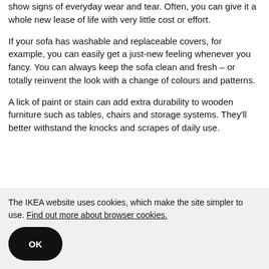show signs of everyday wear and tear. Often, you can give it a whole new lease of life with very little cost or effort.
If your sofa has washable and replaceable covers, for example, you can easily get a just-new feeling whenever you fancy. You can always keep the sofa clean and fresh – or totally reinvent the look with a change of colours and patterns.
A lick of paint or stain can add extra durability to wooden furniture such as tables, chairs and storage systems. They'll better withstand the knocks and scrapes of daily use.
The IKEA website uses cookies, which make the site simpler to use. Find out more about browser cookies.